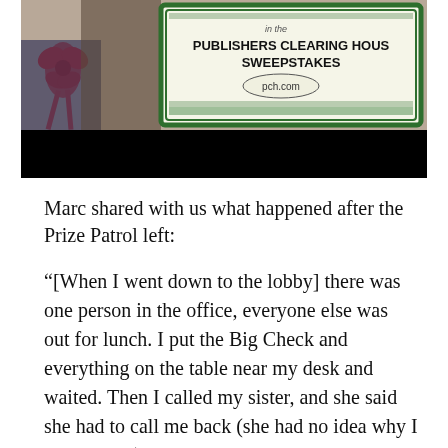[Figure (photo): Photo of a person holding a Publishers Clearing House Sweepstakes big check with a red bow visible on the left side, with a black bar covering the lower portion of the image.]
Marc shared with us what happened after the Prize Patrol left:
“[When I went down to the lobby] there was one person in the office, everyone else was out for lunch. I put the Big Check and everything on the table near my desk and waited. Then I called my sister, and she said she had to call me back (she had no idea why I was calling), so I